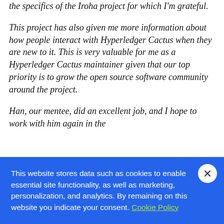the specifics of the Iroha project for which I'm grateful.
This project has also given me more information about how people interact with Hyperledger Cactus when they are new to it. This is very valuable for me as a Hyperledger Cactus maintainer given that our top priority is to grow the open source software community around the project.
Han, our mentee, did an excellent job, and I hope to work with him again in the
This website stores data such as cookies to enable essential site functionality, as well as marketing, personalization, and analytics. By remaining on this website you indicate your consent. Cookie Policy